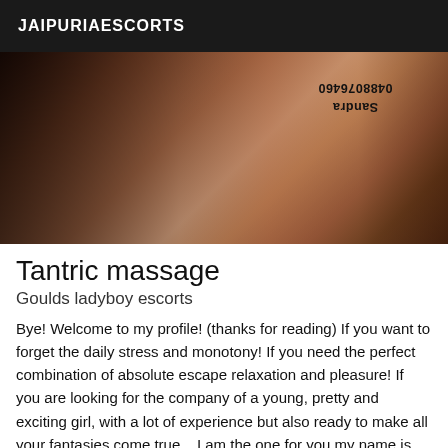JAIPURIAESCORTS
[Figure (photo): A photograph with a watermark text reading 'Sandra 0488076460' displayed upside-down in the upper right area of the image.]
Tantric massage
Goulds ladyboy escorts
Bye! Welcome to my profile! (thanks for reading) If you want to forget the daily stress and monotony! If you need the perfect combination of absolute escape relaxation and pleasure! If you are looking for the company of a young, pretty and exciting girl, with a lot of experience but also ready to make all your fantasies come true... I am the one for you my name is Sandrakiss, with soft and matt skin, with beautiful natural breasts and a beautiful